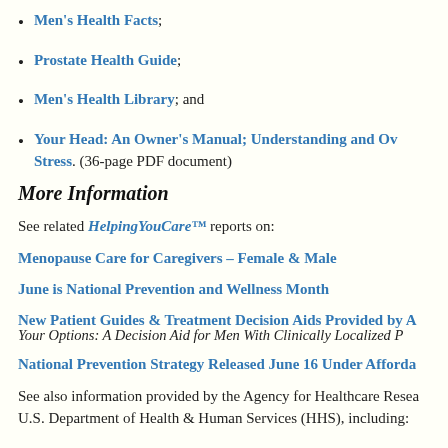Men's Health Facts;
Prostate Health Guide;
Men's Health Library; and
Your Head: An Owner's Manual; Understanding and Ov... Stress. (36-page PDF document)
More Information
See related HelpingYouCare™ reports on:
Menopause Care for Caregivers – Female & Male
June is National Prevention and Wellness Month
New Patient Guides & Treatment Decision Aids Provided by A... Your Options: A Decision Aid for Men With Clinically Localized P...
National Prevention Strategy Released June 16 Under Afforda...
See also information provided by the Agency for Healthcare Resea... U.S. Department of Health & Human Services (HHS), including: